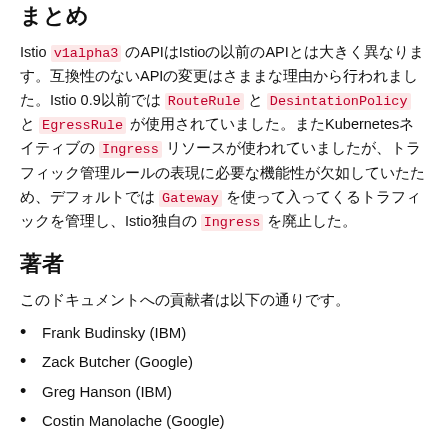まとめ
Istio v1alpha3 のAPIはIstioの以前のAPIとは大きく異なります。互換性のないAPIの変更はさままな理由から行われました。Istio 0.9以前では RouteRule と DesintationPolicy と EgressRule が使用されていました。またKubernetesネイティブの Ingress リソースが使われていましたが、トラフィック管理ルールの表現に必要な機能性が欠如していたため、デフォルトでは Gateway を使って入ってくるトラフィックを管理し、Istio独自の Ingress を廃止した。
著者
このドキュメントへの貢献者は以下の通りです。
Frank Budinsky (IBM)
Zack Butcher (Google)
Greg Hanson (IBM)
Costin Manolache (Google)